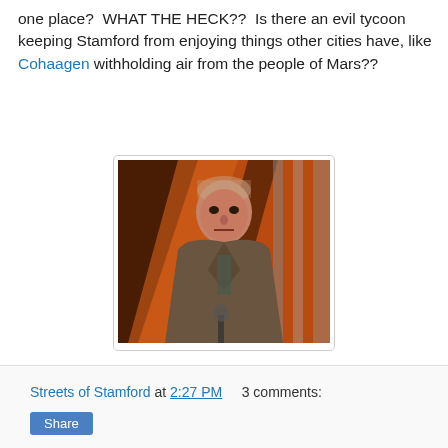one place?  WHAT THE HECK??  Is there an evil tycoon keeping Stamford from enjoying things other cities have, like Cohaagen withholding air from the people of Mars??
[Figure (photo): A stern-looking older man in a grey sport coat, seated at what appears to be a podium or table, with an orange and black background. This is Cohaagen from the movie Total Recall.]
"A minor-league baseball team?  In Stamford??  BAH!"
Streets of Stamford at 2:27 PM    3 comments: